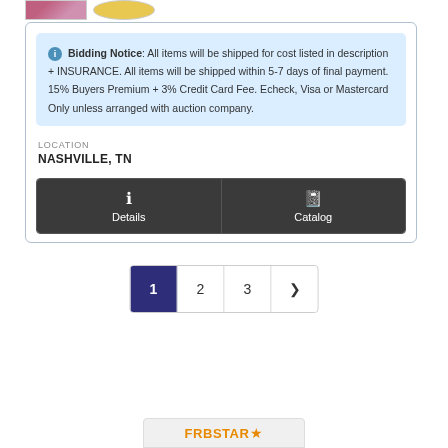[Figure (photo): Partial thumbnail images at top of listing card]
Bidding Notice: All items will be shipped for cost listed in description + INSURANCE. All items will be shipped within 5-7 days of final payment. 15% Buyers Premium + 3% Credit Card Fee. Echeck, Visa or Mastercard Only unless arranged with auction company.
LOCATION
NASHVILLE, TN
Details
Catalog
1 2 3 >
[Figure (logo): FRBSTAR logo with star icon at bottom of page]